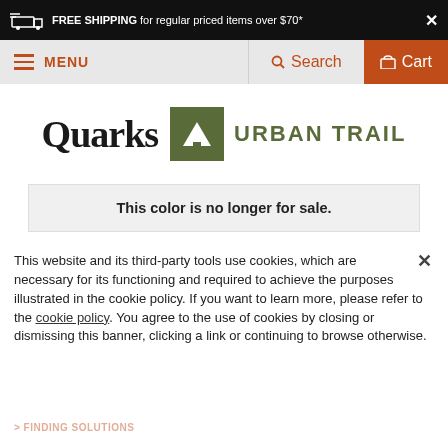FREE SHIPPING for regular priced items over $70*
MENU   Search   Cart
[Figure (logo): Quarks Urban Trail logo — Quarks in bold serif, followed by green square with white tree icon and 'URBAN TRAIL' text in olive green]
This color is no longer for sale.
MENS > MENS MERRELL
> MENS MERRELL SHOES
MERRELL
No Reviews
This website and its third-party tools use cookies, which are necessary for its functioning and required to achieve the purposes illustrated in the cookie policy. If you want to learn more, please refer to the cookie policy. You agree to the use of cookies by closing or dismissing this banner, clicking a link or continuing to browse otherwise.